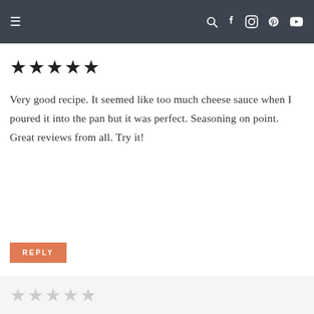Navigation bar with menu and social icons
★★★★★
Very good recipe. It seemed like too much cheese sauce when I poured it into the pan but it was perfect. Seasoning on point. Great reviews from all. Try it!
REPLY
SHANDRA SAYS
NOVEMBER 4, 2018 AT 1:36 AM
☆☆☆☆☆ (empty stars)